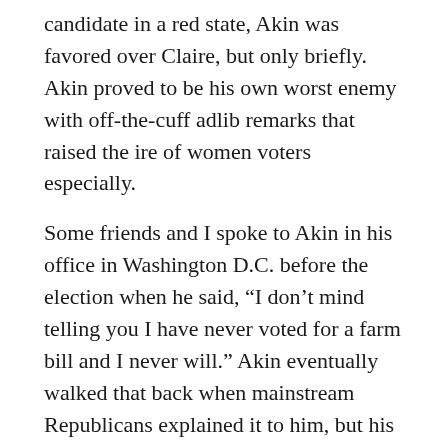candidate in a red state, Akin was favored over Claire, but only briefly. Akin proved to be his own worst enemy with off-the-cuff adlib remarks that raised the ire of women voters especially.
Some friends and I spoke to Akin in his office in Washington D.C. before the election when he said, “I don’t mind telling you I have never voted for a farm bill and I never will.” Akin eventually walked that back when mainstream Republicans explained it to him, but his Tea Party attitude toward many of Missouri agriculture’s most important priorities, like the farm bill and biofuels, gave both red and blue farm groups a bad case of the willies.
Rural Missouri is red Missouri, and that’s where